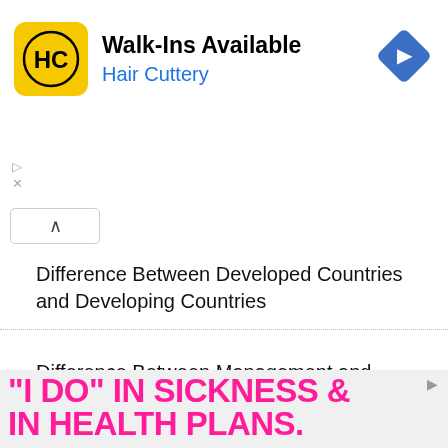[Figure (screenshot): Hair Cuttery advertisement banner with yellow logo showing HC initials, text 'Walk-Ins Available' and 'Hair Cuttery' in blue, with blue diamond navigation arrow icon on the right]
[Figure (screenshot): Navigation bar with up-arrow chevron button and dotted border]
Difference Between Developed Countries and Developing Countries
Difference Between Management and Administration
Difference Between Qualitative and Quantitative Research
[Figure (screenshot): Advertisement banner with hot pink bold text reading: "I DO" IN SICKNESS & IN HEALTH PLANS.]